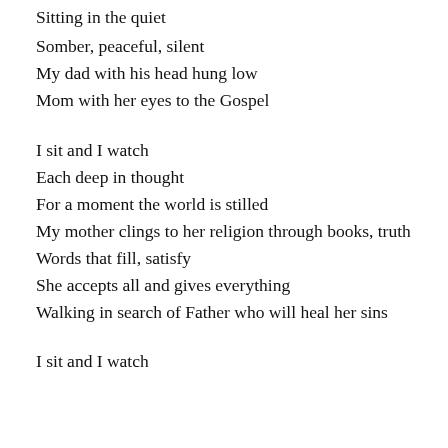Sitting in the quiet
Somber, peaceful, silent
My dad with his head hung low
Mom with her eyes to the Gospel
I sit and I watch
Each deep in thought
For a moment the world is stilled
My mother clings to her religion through books, truth
Words that fill, satisfy
She accepts all and gives everything
Walking in search of Father who will heal her sins
I sit and I watch